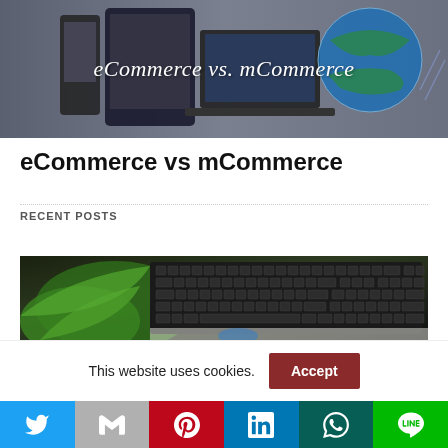[Figure (photo): Hero image showing various digital devices (smartphone, tablet, laptop, globe) in dark blue-grey tone with text overlay 'eCommerce vs. mCommerce']
eCommerce vs mCommerce
RECENT POSTS
[Figure (photo): Photo of a black keyboard with green plant leaves on white desk surface]
This website uses cookies.
Accept